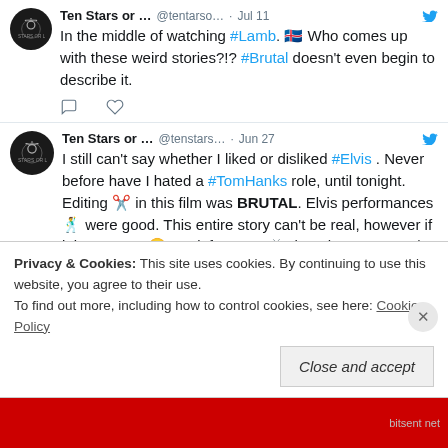Ten Stars or ... @tentarso... · Jul 11 — In the middle of watching #Lamb. 🇮🇸 Who comes up with these weird stories?!? #Brutal doesn't even begin to describe it.
Ten Stars or ... @tenstars... · Jun 27 — I still can't say whether I liked or disliked #Elvis . Never before have I hated a #TomHanks role, until tonight. Editing ✂️ in this film was BRUTAL. Elvis performances 🕺 were good. This entire story can't be real, however if it is…YIKES 😬. Wait for VOD 📺 though, trust me. 3/10
Privacy & Cookies: This site uses cookies. By continuing to use this website, you agree to their use. To find out more, including how to control cookies, see here: Cookie Policy
Close and accept